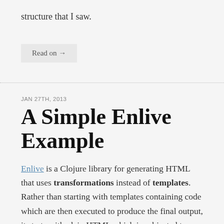structure that I saw.
Read on →
JAN 27TH, 2013
A Simple Enlive Example
Enlive is a Clojure library for generating HTML that uses transformations instead of templates. Rather than starting with templates containing code which are then executed to produce the final output, it starts with plain HTML which is subjected to a series of transformations; the transformations are ordinary functions, targeted to the right part of the DOM by standard CSS selectors